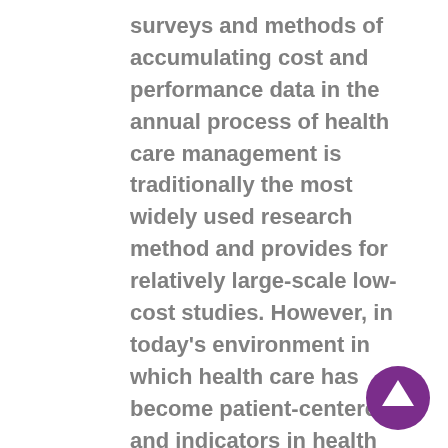surveys and methods of accumulating cost and performance data in the annual process of health care management is traditionally the most widely used research method and provides for relatively large-scale low-cost studies. However, in today's environment in which health care has become patient-centered and indicators in health care are based on quality assurance and quality improvement, qualitative research methods are now the preferred measure of effectiveness of health care, most notably in the area of nursing practice. Qualitative studies in nursing practice which involve subjective and interactive interviews and assessments include not only those involved with direct patient contact but patient perception as well. Patient satisfaction and perception has become essential to the determination of areas of